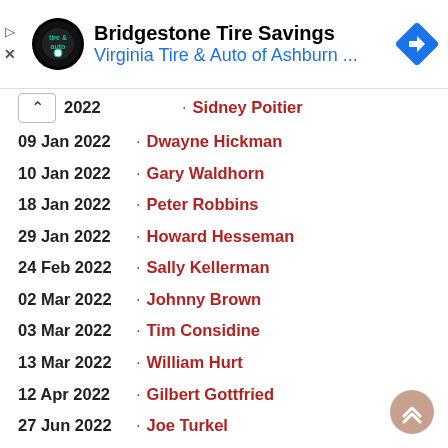[Figure (screenshot): Advertisement banner for Bridgestone Tire Savings at Virginia Tire & Auto of Ashburn, with circular logo and navigation icon]
2022 · Sidney Poitier
09 Jan 2022 · Dwayne Hickman
10 Jan 2022 · Gary Waldhorn
18 Jan 2022 · Peter Robbins
29 Jan 2022 · Howard Hesseman
24 Feb 2022 · Sally Kellerman
02 Mar 2022 · Johnny Brown
03 Mar 2022 · Tim Considine
13 Mar 2022 · William Hurt
12 Apr 2022 · Gilbert Gottfried
27 Jun 2022 · Joe Turkel
08 Jul 2022 · Gregory Itzin
24 Jul 2022 · David Warner
27 Jul 2022 · Tony Dow
30 Jul 2022 · Nichelle Nichols